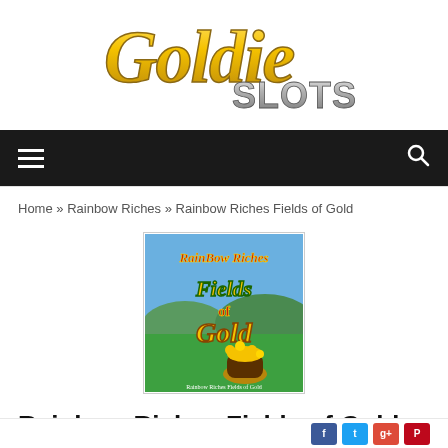[Figure (logo): Goldie Slots logo with golden cursive 'Goldie' text and silver bold 'SLOTS' text]
[Figure (other): Navigation bar with hamburger menu icon on left and search icon on right, dark background]
Home » Rainbow Riches » Rainbow Riches Fields of Gold
[Figure (screenshot): Rainbow Riches Fields of Gold game logo image showing colorful text and a pot of gold on green fields with blue sky]
Rainbow Riches Fields of Gold